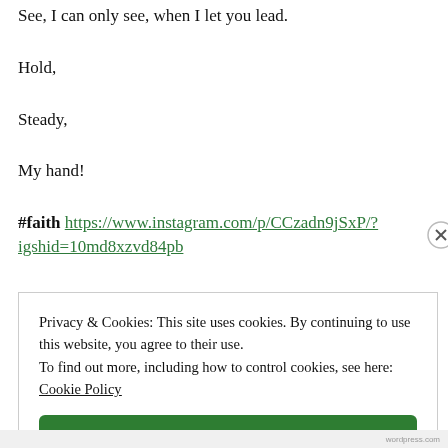See, I can only see, when I let you lead.
Hold,
Steady,
My hand!
#faith https://www.instagram.com/p/CCzadn9jSxP/?igshid=10md8xzvd84pb
Privacy & Cookies: This site uses cookies. By continuing to use this website, you agree to their use.
To find out more, including how to control cookies, see here: Cookie Policy
Close and accept